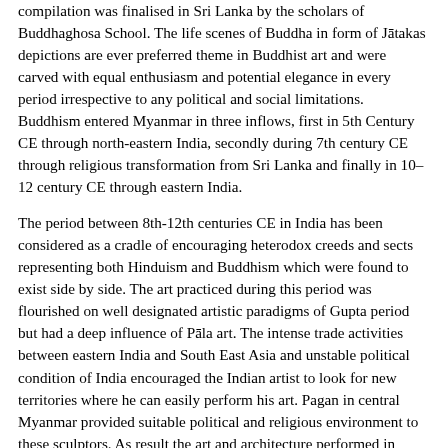compilation was finalised in Sri Lanka by the scholars of Buddhaghosa School. The life scenes of Buddha in form of Jatakas depictions are ever preferred theme in Buddhist art and were carved with equal enthusiasm and potential elegance in every period irrespective to any political and social limitations. Buddhism entered Myanmar in three inflows, first in 5th Century CE through north-eastern India, secondly during 7th century CE through religious transformation from Sri Lanka and finally in 10–12 century CE through eastern India.
The period between 8th-12th centuries CE in India has been considered as a cradle of encouraging heterodox creeds and sects representing both Hinduism and Buddhism which were found to exist side by side. The art practiced during this period was flourished on well designated artistic paradigms of Gupta period but had a deep influence of Pala art. The intense trade activities between eastern India and South East Asia and unstable political condition of India encouraged the Indian artist to look for new territories where he can easily perform his art. Pagan in central Myanmar provided suitable political and religious environment to these sculptors. As result the art and architecture performed in terracotta plaques of Pagan and its Buddhist religious monumental architecture attained deep influence of eastern India but the art of central Myanmar was not a mere repetition of its Indian neighbourhood but is evident with many local experiments and innovations.